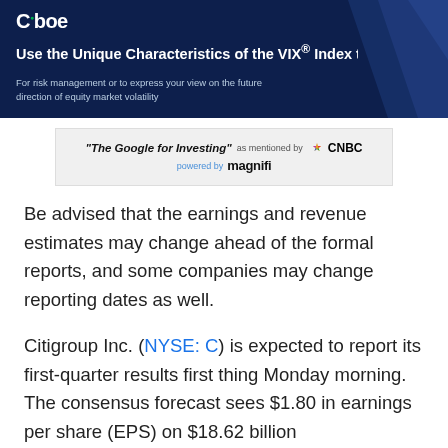Cboe — Use the Unique Characteristics of the VIX® Index to Your Advantage. For risk management or to express your view on the future direction of equity market volatility
[Figure (other): Promotional banner: 'The Google for Investing' as mentioned by CNBC, powered by magnifi]
Be advised that the earnings and revenue estimates may change ahead of the formal reports, and some companies may change reporting dates as well.
Citigroup Inc. (NYSE: C) is expected to report its first-quarter results first thing Monday morning. The consensus forecast sees $1.80 in earnings per share (EPS) on $18.62 billion